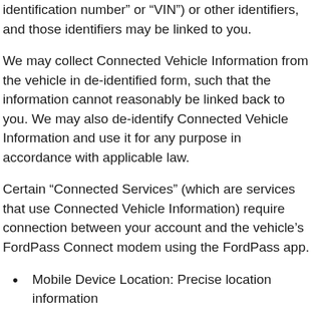identification number” or “VIN”) or other identifiers, and those identifiers may be linked to you.
We may collect Connected Vehicle Information from the vehicle in de-identified form, such that the information cannot reasonably be linked back to you. We may also de-identify Connected Vehicle Information and use it for any purpose in accordance with applicable law.
Certain “Connected Services” (which are services that use Connected Vehicle Information) require connection between your account and the vehicle’s FordPass Connect modem using the FordPass app.
Mobile Device Location: Precise location information